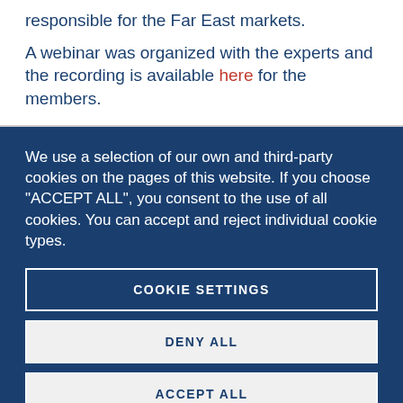responsible for the Far East markets.
A webinar was organized with the experts and the recording is available here for the members.
We use a selection of our own and third-party cookies on the pages of this website. If you choose "ACCEPT ALL", you consent to the use of all cookies. You can accept and reject individual cookie types.
COOKIE SETTINGS
DENY ALL
ACCEPT ALL